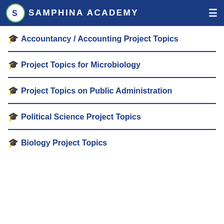Samphina Academy
Accountancy / Accounting Project Topics
Project Topics for Microbiology
Project Topics on Public Administration
Political Science Project Topics
Biology Project Topics